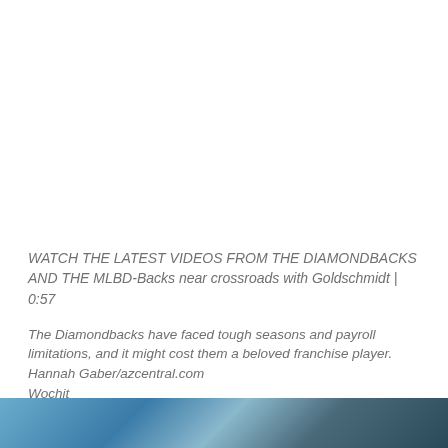WATCH THE LATEST VIDEOS FROM THE DIAMONDBACKS AND THE MLBD-Backs near crossroads with Goldschmidt | 0:57
The Diamondbacks have faced tough seasons and payroll limitations, and it might cost them a beloved franchise player. Hannah Gaber/azcentral.com
Wochit
34 of 37
CLOSE
[Figure (photo): Bottom strip of a blurred photograph showing a baseball player, predominantly blue and teal tones]